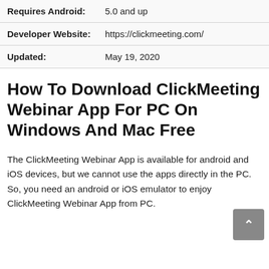| Field | Value |
| --- | --- |
| Requires Android: | 5.0 and up |
| Developer Website: | https://clickmeeting.com/ |
| Updated: | May 19, 2020 |
How To Download ClickMeeting Webinar App For PC On Windows And Mac Free
The ClickMeeting Webinar App is available for android and iOS devices, but we cannot use the apps directly in the PC. So, you need an android or iOS emulator to enjoy ClickMeeting Webinar App from PC.